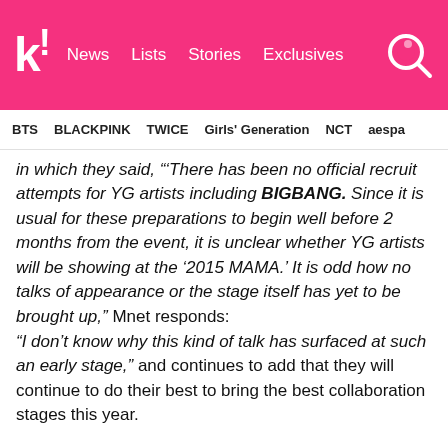k! News | Lists | Stories | Exclusives
BTS  BLACKPINK  TWICE  Girls' Generation  NCT  aespa
in which they said, "‘There has been no official recruit attempts for YG artists including BIGBANG. Since it is usual for these preparations to begin well before 2 months from the event, it is unclear whether YG artists will be showing at the ‘2015 MAMA.’ It is odd how no talks of appearance or the stage itself has yet to be brought up," Mnet responds:
“I don’t know why this kind of talk has surfaced at such an early stage," and continues to add that they will continue to do their best to bring the best collaboration stages this year.